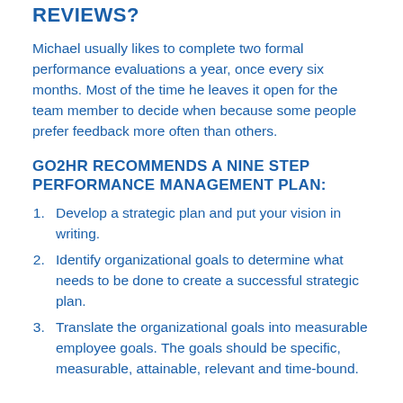REVIEWS?
Michael usually likes to complete two formal performance evaluations a year, once every six months. Most of the time he leaves it open for the team member to decide when because some people prefer feedback more often than others.
GO2HR RECOMMENDS A NINE STEP PERFORMANCE MANAGEMENT PLAN:
Develop a strategic plan and put your vision in writing.
Identify organizational goals to determine what needs to be done to create a successful strategic plan.
Translate the organizational goals into measurable employee goals. The goals should be specific, measurable, attainable, relevant and time-bound.